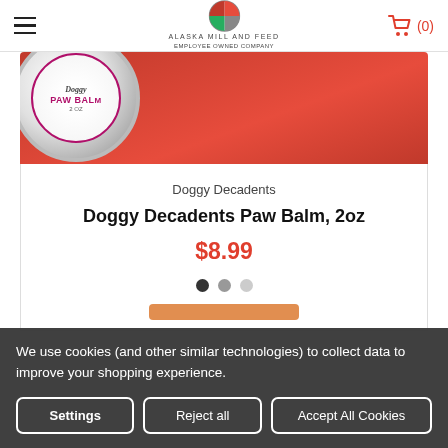Alaska Mill and Feed — Employee Owned Company | Cart (0)
[Figure (photo): Product photo showing a round tin of Doggy Decadents Paw Balm against a red background. The tin lid is visible with pink/magenta text.]
Doggy Decadents
Doggy Decadents Paw Balm, 2oz
$8.99
We use cookies (and other similar technologies) to collect data to improve your shopping experience.
Settings | Reject all | Accept All Cookies